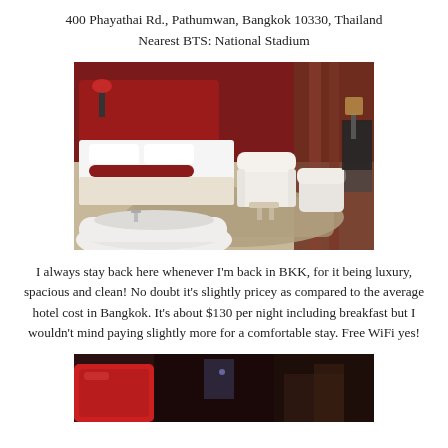400 Phayathai Rd., Pathumwan, Bangkok 10330, Thailand
Nearest BTS: National Stadium
[Figure (photo): Hotel room interior showing a white bed, white high-back chair, round bathtub in foreground, area rug, and red accent wall with ambient lighting]
I always stay back here whenever I'm back in BKK, for it being luxury, spacious and clean! No doubt it's slightly pricey as compared to the average hotel cost in Bangkok. It's about $130 per night including breakfast but I wouldn't mind paying slightly more for a comfortable stay. Free WiFi yes!
[Figure (photo): Partial view of hotel room with red pillow and dark blurred background]